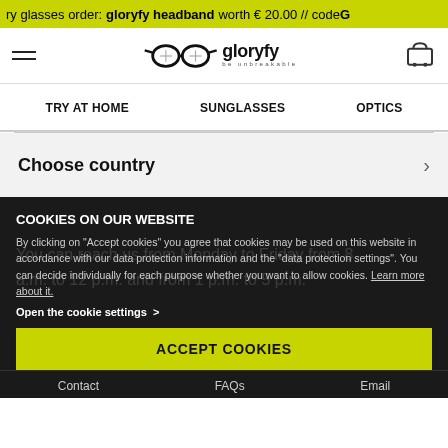ry glasses order: gloryfy headband worth € 20.00 // code G
[Figure (logo): Gloryfy logo with sunglasses icon and text 'be unbreakable']
TRY AT HOME
SUNGLASSES
OPTICS
Choose country
COOKIES ON OUR WEBSITE
By clicking on "Accept cookies" you agree that cookies may be used on this website in accordance with our data protection information and the "data protection settings". You can decide individually for each purpose whether you want to allow cookies. Learn more about it.
Open the cookie settings  >
ACCEPT COOKIES
Contact   FAQs   Email